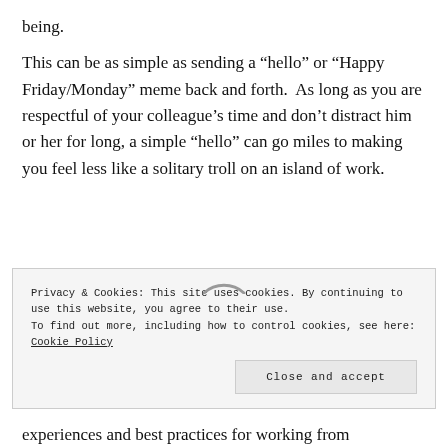being.
This can be as simple as sending a “hello” or “Happy Friday/Monday” meme back and forth.  As long as you are respectful of your colleague’s time and don’t distract him or her for long, a simple “hello” can go miles to making you feel less like a solitary troll on an island of work.
Privacy & Cookies: This site uses cookies. By continuing to use this website, you agree to their use.
To find out more, including how to control cookies, see here: Cookie Policy
Close and accept
experiences and best practices for working from